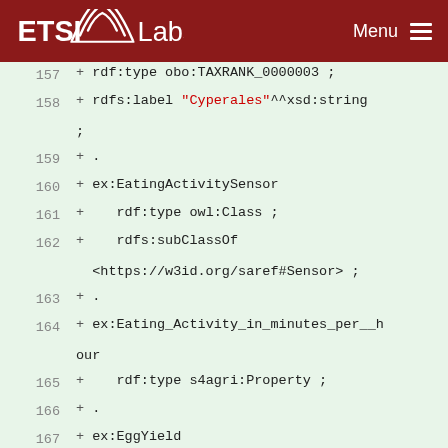ETSI Labs — Menu
157 + rdf:type obo:TAXRANK_0000003 ;
158 + rdfs:label "Cyperales"^^xsd:string ;
159 + .
160 + ex:EatingActivitySensor
161 + rdf:type owl:Class ;
162 + rdfs:subClassOf <https://w3id.org/saref#Sensor> ;
163 + .
164 + ex:Eating_Activity_in_minutes_per__hour
165 + rdf:type s4agri:Property ;
166 + .
167 + ex:EggYield
168 + rdf:type owl:Class ;
169 + rdfs:label "Egg Yield"^^xsd:string ;
170 + rdfs:subClassOf s4agri:Yield ;
171 + .
172 + ex:FarmHolding
173 + rdf:type owl:Class ;